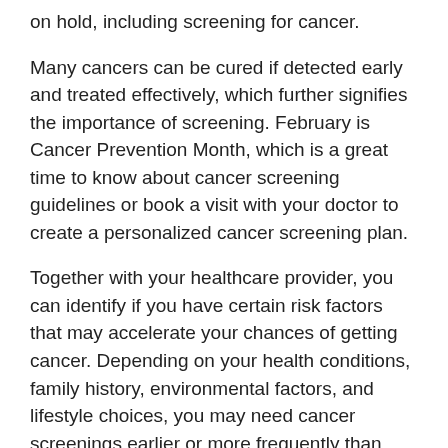on hold, including screening for cancer.
Many cancers can be cured if detected early and treated effectively, which further signifies the importance of screening. February is Cancer Prevention Month, which is a great time to know about cancer screening guidelines or book a visit with your doctor to create a personalized cancer screening plan.
Together with your healthcare provider, you can identify if you have certain risk factors that may accelerate your chances of getting cancer. Depending on your health conditions, family history, environmental factors, and lifestyle choices, you may need cancer screenings earlier or more frequently than usual. Otherwise, most screenings are determined by age.
Symptoms:
Cancer symptoms vary depending on which part of the